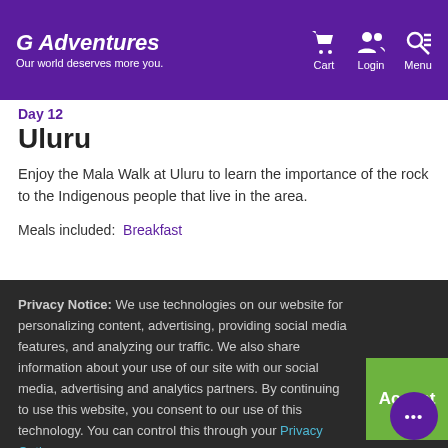G Adventures — Our world deserves more you. | Cart | Login | Menu
Day 12
Uluru
Enjoy the Mala Walk at Uluru to learn the importance of the rock to the Indigenous people that live in the area.
Meals included: Breakfast
Privacy Notice: We use technologies on our website for personalizing content, advertising, providing social media features, and analyzing our traffic. We also share information about your use of our site with our social media, advertising and analytics partners. By continuing to use this website, you consent to our use of this technology. You can control this through your Privacy Options.